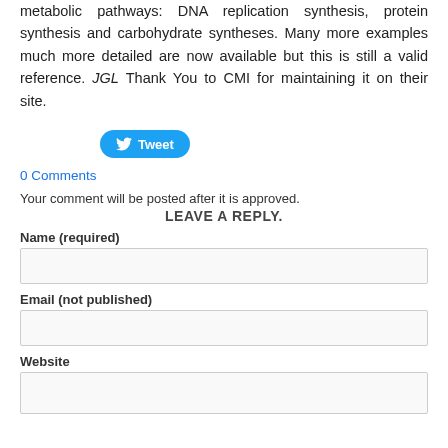metabolic pathways: DNA replication synthesis, protein synthesis and carbohydrate syntheses. Many more examples much more detailed are now available but this is still a valid reference. JGL Thank You to CMI for maintaining it on their site.
[Figure (other): Twitter Tweet button (blue rounded rectangle with bird icon and 'Tweet' text)]
0 Comments
Your comment will be posted after it is approved.
LEAVE A REPLY.
Name (required)
Email (not published)
Website